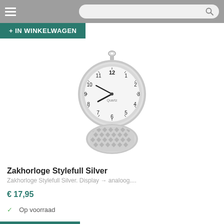+ IN WINKELWAGEN
[Figure (photo): A silver pocket watch open, showing an analog clock face with numbers 1–12, hands pointing near 8:40, and a decorative checkered pattern on the inside of the lid. A chain loop is visible at the top.]
Zakhorloge Stylefull Silver
Zakhorloge Stylefull Silver. Display → analoog....
€ 17,95
✓  Op voorraad